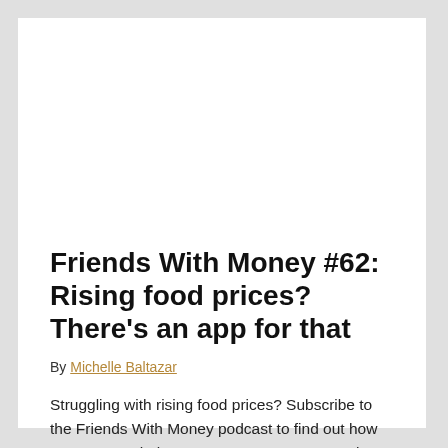Friends With Money #62: Rising food prices? There's an app for that
By Michelle Baltazar
Struggling with rising food prices? Subscribe to the Friends With Money podcast to find out how one app can help save you money on groceries.